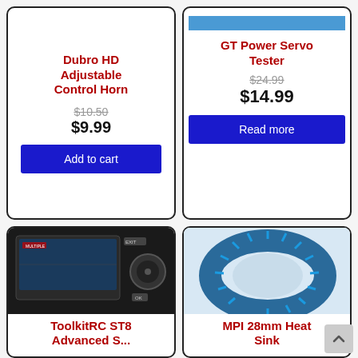Dubro HD Adjustable Control Horn
$10.50 $9.99
Add to cart
GT Power Servo Tester
$24.99 $14.99
Read more
[Figure (photo): ToolkitRC ST8 Advanced Servo Tester device with display screen and control knob]
ToolkitRC ST8 Advanced S...
[Figure (photo): MPI 28mm Heat Sink, blue anodized aluminum heat sink ring]
MPI 28mm Heat Sink